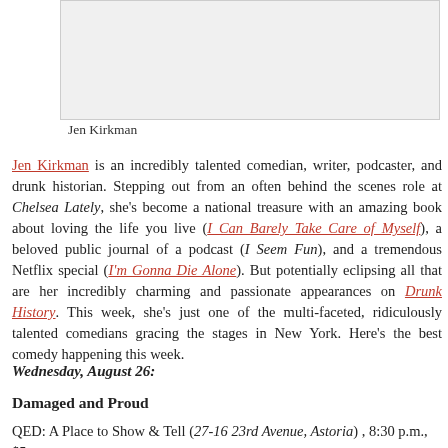[Figure (photo): Photo of Jen Kirkman]
Jen Kirkman
Jen Kirkman is an incredibly talented comedian, writer, podcaster, and drunk historian. Stepping out from an often behind the scenes role at Chelsea Lately, she’s become a national treasure with an amazing book about loving the life you live (I Can Barely Take Care of Myself), a beloved public journal of a podcast (I Seem Fun), and a tremendous Netflix special (I’m Gonna Die Alone). But potentially eclipsing all that are her incredibly charming and passionate appearances on Drunk History. This week, she’s just one of the multi-faceted, ridiculously talented comedians gracing the stages in New York. Here’s the best comedy happening this week.
Wednesday, August 26:
Damaged and Proud
QED: A Place to Show & Tell (27-16 23rd Avenue, Astoria) , 8:30 p.m., $5